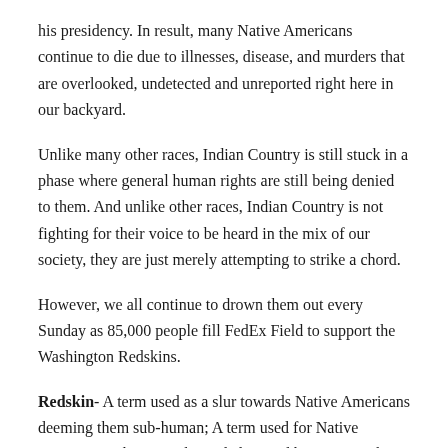his presidency. In result, many Native Americans continue to die due to illnesses, disease, and murders that are overlooked, undetected and unreported right here in our backyard.
Unlike many other races, Indian Country is still stuck in a phase where general human rights are still being denied to them. And unlike other races, Indian Country is not fighting for their voice to be heard in the mix of our society, they are just merely attempting to strike a chord.
However, we all continue to drown them out every Sunday as 85,000 people fill FedEx Field to support the Washington Redskins.
Redskin- A term used as a slur towards Native Americans deeming them sub-human; A term used for Native Americans who were skinned alive and burnt at a stake.